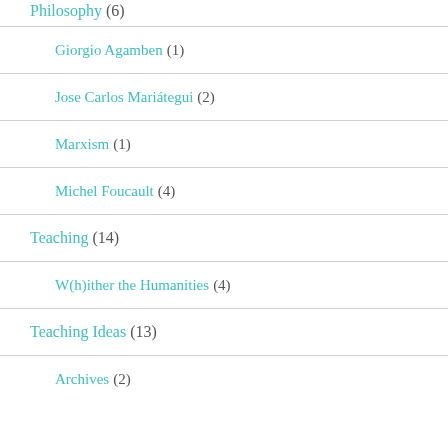Philosophy (6)
Giorgio Agamben (1)
Jose Carlos Mariátegui (2)
Marxism (1)
Michel Foucault (4)
Teaching (14)
W(h)ither the Humanities (4)
Teaching Ideas (13)
Archives (2)